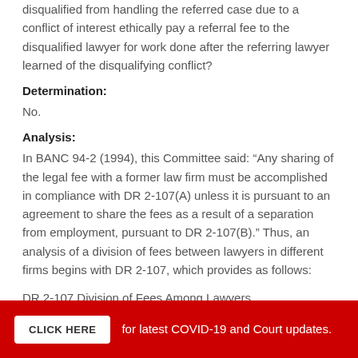disqualified from handling the referred case due to a conflict of interest ethically pay a referral fee to the disqualified lawyer for work done after the referring lawyer learned of the disqualifying conflict?
Determination:
No.
Analysis:
In BANC 94-2 (1994), this Committee said: “Any sharing of the legal fee with a former law firm must be accomplished in compliance with DR 2-107(A) unless it is pursuant to an agreement to share the fees as a result of a separation from employment, pursuant to DR 2-107(B).” Thus, an analysis of a division of fees between lawyers in different firms begins with DR 2-107, which provides as follows:
DR 2-107 Division of Fees Among Lawyers
A. A lawyer shall not divide a fee for legal services with another
CLICK HERE for latest COVID-19 and Court updates.